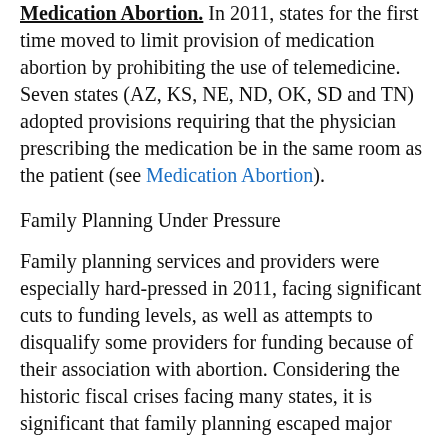Medication Abortion. In 2011, states for the first time moved to limit provision of medication abortion by prohibiting the use of telemedicine. Seven states (AZ, KS, NE, ND, OK, SD and TN) adopted provisions requiring that the physician prescribing the medication be in the same room as the patient (see Medication Abortion).
Family Planning Under Pressure
Family planning services and providers were especially hard-pressed in 2011, facing significant cuts to funding levels, as well as attempts to disqualify some providers for funding because of their association with abortion. Considering the historic fiscal crises facing many states, it is significant that family planning escaped major